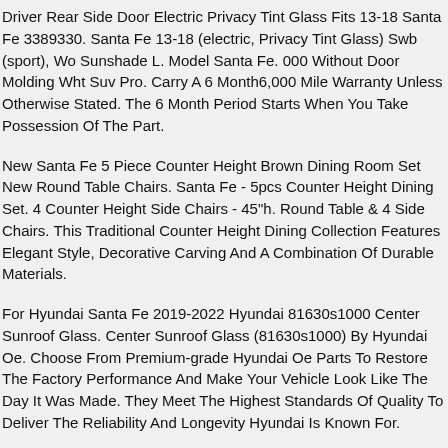Driver Rear Side Door Electric Privacy Tint Glass Fits 13-18 Santa Fe 3389330. Santa Fe 13-18 (electric, Privacy Tint Glass) Swb (sport), Wo Sunshade L. Model Santa Fe. 000 Without Door Molding Wht Suv Pro. Carry A 6 Month6,000 Mile Warranty Unless Otherwise Stated. The 6 Month Period Starts When You Take Possession Of The Part.
New Santa Fe 5 Piece Counter Height Brown Dining Room Set New Round Table Chairs. Santa Fe - 5pcs Counter Height Dining Set. 4 Counter Height Side Chairs - 45"h. Round Table & 4 Side Chairs. This Traditional Counter Height Dining Collection Features Elegant Style, Decorative Carving And A Combination Of Durable Materials.
For Hyundai Santa Fe 2019-2022 Hyundai 81630s1000 Center Sunroof Glass. Center Sunroof Glass (81630s1000) By Hyundai Oe. Choose From Premium-grade Hyundai Oe Parts To Restore The Factory Performance And Make Your Vehicle Look Like The Day It Was Made. They Meet The Highest Standards Of Quality To Deliver The Reliability And Longevity Hyundai Is Known For.